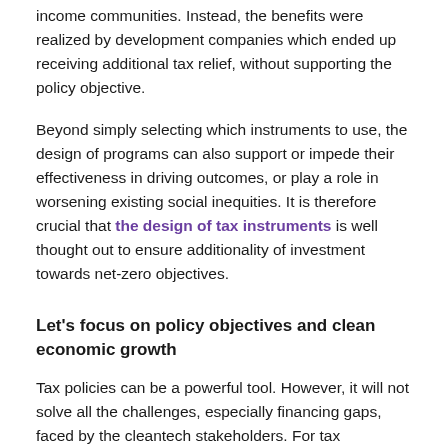income communities. Instead, the benefits were realized by development companies which ended up receiving additional tax relief, without supporting the policy objective.
Beyond simply selecting which instruments to use, the design of programs can also support or impede their effectiveness in driving outcomes, or play a role in worsening existing social inequities. It is therefore crucial that the design of tax instruments is well thought out to ensure additionality of investment towards net-zero objectives.
Let's focus on policy objectives and clean economic growth
Tax policies can be a powerful tool. However, it will not solve all the challenges, especially financing gaps, faced by the cleantech stakeholders. For tax measures to be effective, it needs to be used as a complementary policy to existing ones, like carbon pricing, and other policies that support aspects of the clean innovation system, like regulatory reform, intellectual property protections